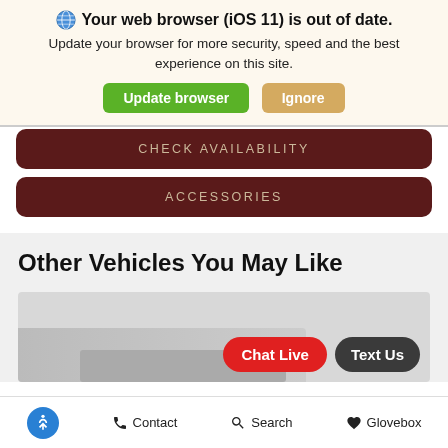Your web browser (iOS 11) is out of date. Update your browser for more security, speed and the best experience on this site.
Update browser
Ignore
CHECK AVAILABILITY
ACCESSORIES
Other Vehicles You May Like
[Figure (screenshot): Partial view of a vehicle image at the bottom of the page]
Chat Live
Text Us
Accessibility  Contact  Search  Glovebox